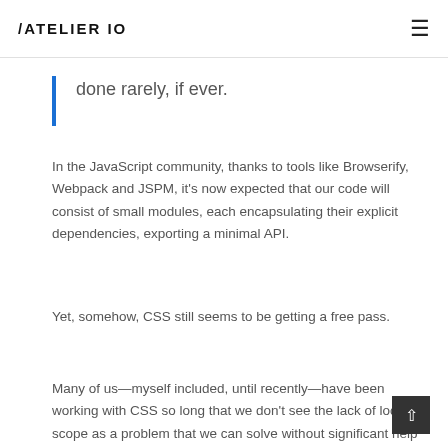ATELIER IO
done rarely, if ever.
In the JavaScript community, thanks to tools like Browserify, Webpack and JSPM, it's now expected that our code will consist of small modules, each encapsulating their explicit dependencies, exporting a minimal API.
Yet, somehow, CSS still seems to be getting a free pass.
Many of us—myself included, until recently—have been working with CSS so long that we don't see the lack of local scope as a problem that we can solve without significant help